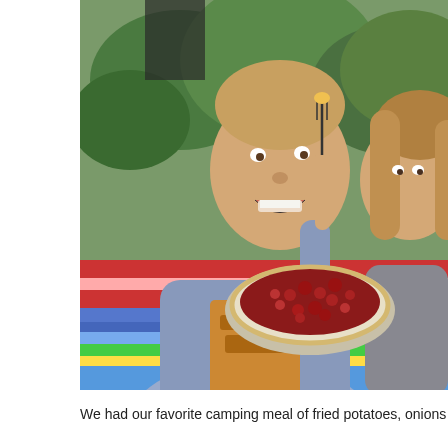[Figure (photo): Two people sitting at a colorful striped tablecloth outdoors in a forested camping setting. A man in a blue hoodie is eating with a fork while smiling/laughing at the camera. A woman with long hair is partially visible behind him to the right. On the table sits a cherry pie in a foil dish. Trees are visible in the background.]
We had our favorite camping meal of fried potatoes, onions